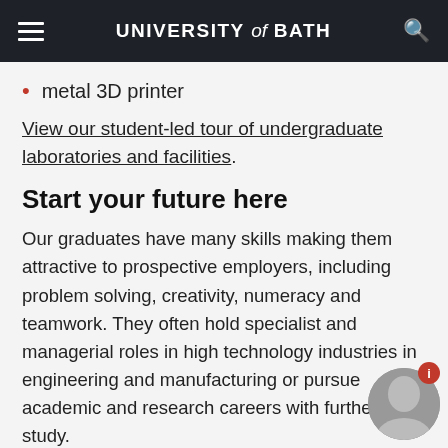UNIVERSITY of BATH
metal 3D printer
View our student-led tour of undergraduate laboratories and facilities.
Start your future here
Our graduates have many skills making them attractive to prospective employers, including problem solving, creativity, numeracy and teamwork. They often hold specialist and managerial roles in high technology industries in engineering and manufacturing or pursue academic and research careers with further study.